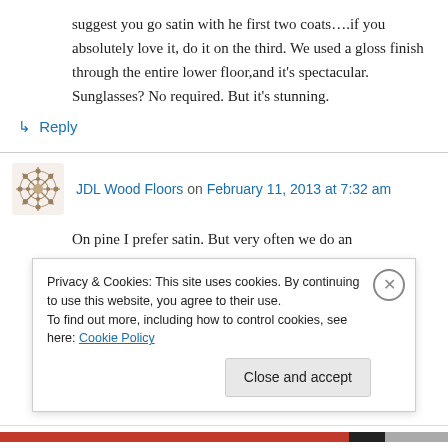suggest you go satin with he first two coats….if you absolutely love it, do it on the third. We used a gloss finish through the entire lower floor,and it's spectacular. Sunglasses? No required. But it's stunning.
↳ Reply
JDL Wood Floors on February 11, 2013 at 7:32 am
On pine I prefer satin. But very often we do an
Privacy & Cookies: This site uses cookies. By continuing to use this website, you agree to their use.
To find out more, including how to control cookies, see here: Cookie Policy